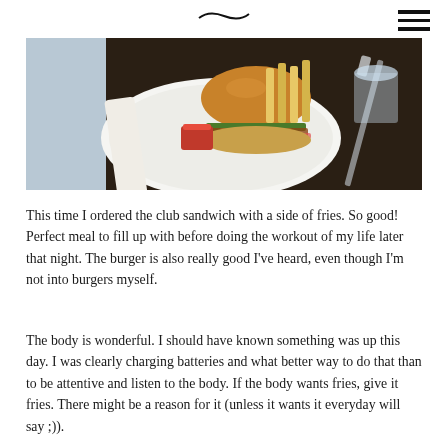[logo / navigation header]
[Figure (photo): A burger with fries and ketchup on a white plate on a dark restaurant table, with a knife visible on the right side.]
This time I ordered the club sandwich with a side of fries. So good! Perfect meal to fill up with before doing the workout of my life later that night. The burger is also really good I've heard, even though I'm not into burgers myself.
The body is wonderful. I should have known something was up this day. I was clearly charging batteries and what better way to do that than to be attentive and listen to the body. If the body wants fries, give it fries. There might be a reason for it (unless it wants it everyday will say ;)).